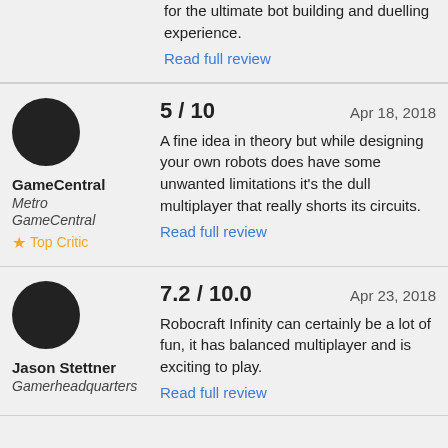for the ultimate bot building and duelling experience.
Read full review
5 / 10   Apr 18, 2018
A fine idea in theory but while designing your own robots does have some unwanted limitations it's the dull multiplayer that really shorts its circuits.
Read full review
GameCentral
Metro GameCentral
Top Critic
7.2 / 10.0   Apr 23, 2018
Robocraft Infinity can certainly be a lot of fun, it has balanced multiplayer and is exciting to play.
Read full review
Jason Stettner
Gamerheadquarters